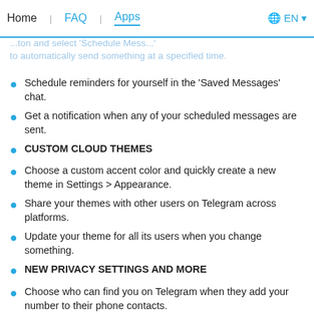Home   FAQ   Apps   🌐 EN
SCHEDULED MESSAGES: ... and select 'Schedule Mess...' to automatically send something at a specified time.
Schedule reminders for yourself in the 'Saved Messages' chat.
Get a notification when any of your scheduled messages are sent.
CUSTOM CLOUD THEMES
Choose a custom accent color and quickly create a new theme in Settings > Appearance.
Share your themes with other users on Telegram across platforms.
Update your theme for all its users when you change something.
NEW PRIVACY SETTINGS AND MORE
Choose who can find you on Telegram when they add your number to their phone contacts.
Share documents to Telegram from your favorite apps using the Share Extension.
Send a single 😁, 😦, 😡, 💩, 😢 or 😮 to check out what's new in the animated emoji department.